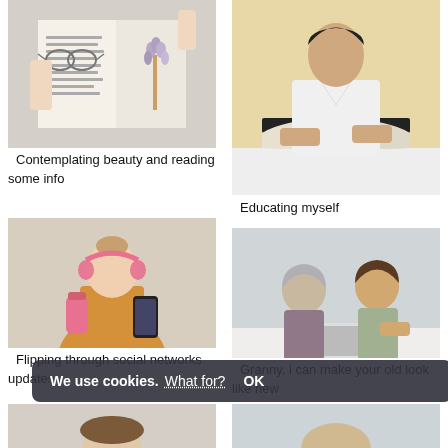[Figure (photo): Hands holding open a book with glasses and dried lavender flowers on top, top-down view]
Contemplating beauty and reading some info
[Figure (photo): Young woman in white top sitting at a table flipping through a large book, warm beige background]
Educating myself
[Figure (photo): Smiling woman in yellow sweater with pink headphones around neck, holding phone and thermos, beige background]
Flipping through social networks updates
[Figure (photo): Elderly woman and young man sitting together reading a magazine on a tablet, white background]
Granny, i can make your old look like new
We use cookies. What for? OK
[Figure (photo): Partial view of a person's head/face, bottom of page, left column]
[Figure (photo): Partial view, bottom of page, right column]